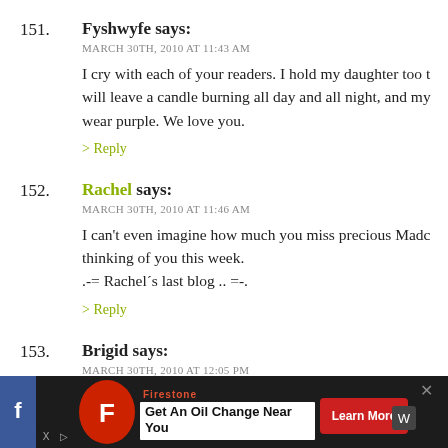151. Fyshwyfe says: MARCH 30TH, 2010 AT 11:43 AM
I cry with each of your readers. I hold my daughter too t will leave a candle burning all day and all night, and my wear purple. We love you.
> Reply
152. Rachel says: MARCH 30TH, 2010 AT 11:46 AM
I can't even imagine how much you miss precious Madc thinking of you this week.
.-= Rachel's last blog .. =-.
> Reply
153. Brigid says: MARCH 30TH, 2010 AT 12:05 PM
I remember thinking that exact same thing "I can still sa
[Figure (infographic): Advertisement bar at bottom: Firestone oil change ad with red shield logo, headline 'Get An Oil Change Near You', red 'Learn More' button, dark background with social icons]